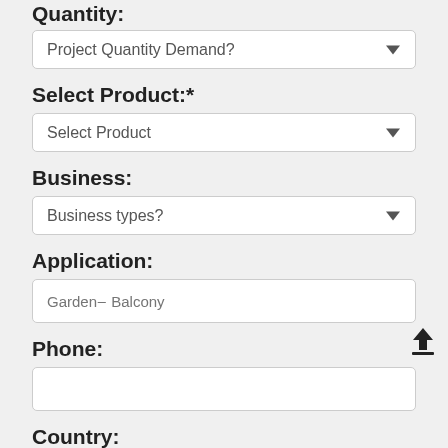Quantity:
Project Quantity Demand? [dropdown]
Select Product:*
Select Product [dropdown]
Business:
Business types? [dropdown]
Application:
Garden– Balcony [text input placeholder]
Phone:
[empty text input]
Country:
[empty text input]
Message:* Required*